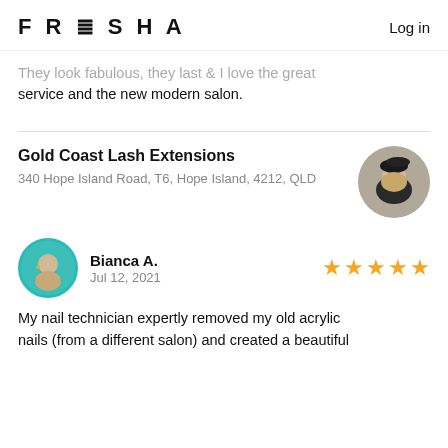FRESHA  Log in
They look fabulous, they last & I love the great service and the new modern salon.
Gold Coast Lash Extensions
340 Hope Island Road, T6, Hope Island, 4212, QLD
[Figure (photo): Profile photo of a woman wearing a dark beret hat, with blonde hair]
[Figure (photo): Circular avatar of reviewer Bianca A. with teal/green border]
Bianca A.
Jul 12, 2021
My nail technician expertly removed my old acrylic nails (from a different salon) and created a beautiful